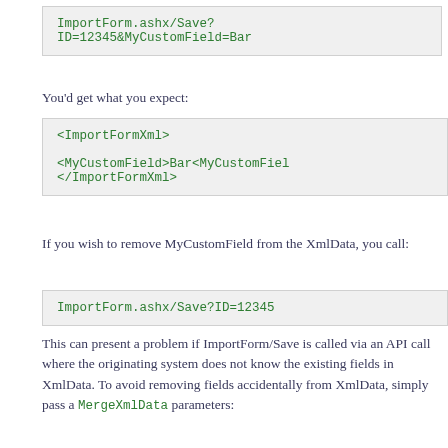[Figure (screenshot): Code block showing: ImportForm.ashx/Save?ID=12345&MyCustomField=Bar]
You'd get what you expect:
[Figure (screenshot): Code block showing XML: <ImportFormXml>
<MyCustomField>Bar<MyCustomField>
</ImportFormXml>]
If you wish to remove MyCustomField from the XmlData, you call:
[Figure (screenshot): Code block showing: ImportForm.ashx/Save?ID=12345]
This can present a problem if ImportForm/Save is called via an API call where the originating system does not know the existing fields in XmlData. To avoid removing fields accidentally from XmlData, simply pass a MergeXmlData parameters: